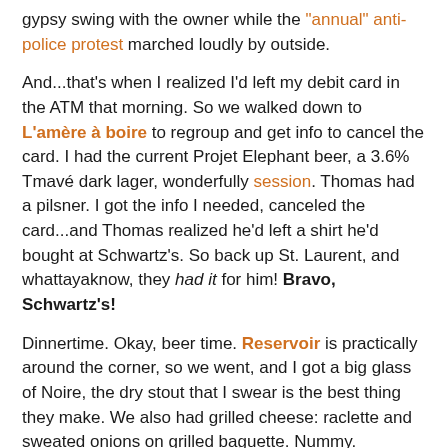gypsy swing with the owner while the "annual" anti-police protest marched loudly by outside.
And...that's when I realized I'd left my debit card in the ATM that morning. So we walked down to L'amère à boire to regroup and get info to cancel the card. I had the current Projet Elephant beer, a 3.6% Tmavé dark lager, wonderfully session. Thomas had a pilsner. I got the info I needed, canceled the card...and Thomas realized he'd left a shirt he'd bought at Schwartz's. So back up St. Laurent, and whattayaknow, they had it for him! Bravo, Schwartz's!
Dinnertime. Okay, beer time. Reservoir is practically around the corner, so we went, and I got a big glass of Noire, the dry stout that I swear is the best thing they make. We also had grilled cheese: raclette and sweated onions on grilled baguette. Nummy.
We were beat. Yes, beer geekerie: no Dieu du Ciel. I've been; it's great, but it's a long way off, and to be honest, I'd rather have spent much of the day drinking the Elephant beer, or even going to Benelux. Or maybe I'm just ornery.